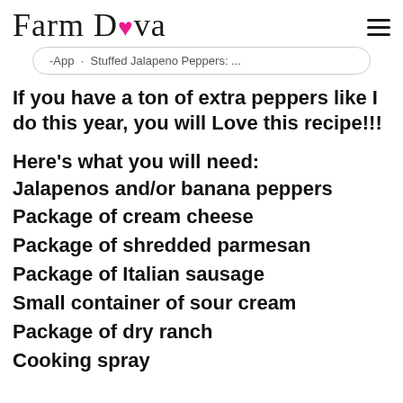Farm Diva
[Figure (screenshot): Partial search bar showing truncated text: -App · Stuffed Jalapeno Peppers: ...]
If you have a ton of extra peppers like I do this year, you will Love this recipe!!!
Here's what you will need:
Jalapenos and/or banana peppers
Package of cream cheese
Package of shredded parmesan
Package of Italian sausage
Small container of sour cream
Package of dry ranch
Cooking spray